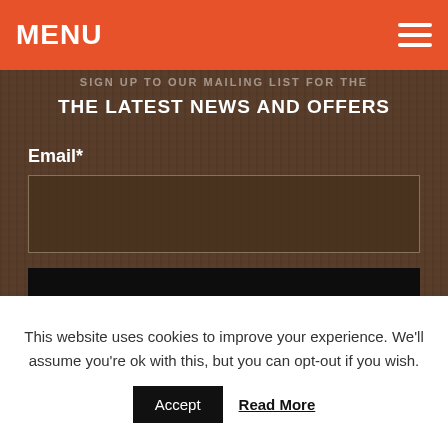MENU
THE LATEST NEWS AND OFFERS
Email*
SUBSCRIBE
[Figure (logo): PERKIN logo in large stylized chrome/metallic letters on a light textured background]
This website uses cookies to improve your experience. We'll assume you're ok with this, but you can opt-out if you wish.
Accept    Read More